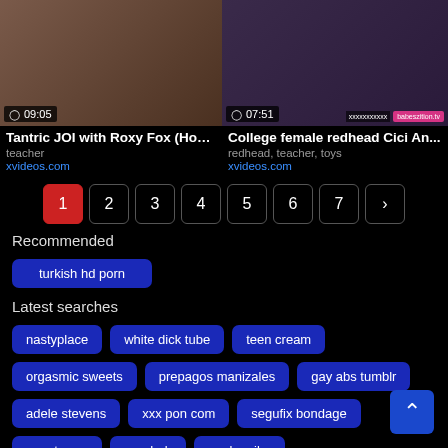[Figure (screenshot): Video thumbnail left - Tantric JOI with Roxy Fox, duration 09:05]
[Figure (screenshot): Video thumbnail right - College female redhead Cici An..., duration 07:51]
Tantric JOI with Roxy Fox (How ...
teacher
xvideos.com
College female redhead Cici An...
redhead, teacher, toys
xvideos.com
1 2 3 4 5 6 7 >
Recommended
turkish hd porn
Latest searches
nastyplace
white dick tube
teen cream
orgasmic sweets
prepagos manizales
gay abs tumblr
adele stevens
xxx pon com
segufix bondage
vegeta xxx
pornhgb
paola mike
body heat 2010 free online
babbysitter porn